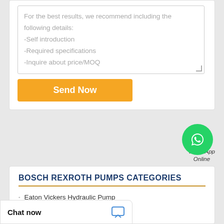For the best results, we recommend including the following details:
-Self introduction
-Required specifications
-Inquire about price/MOQ
Send Now
[Figure (logo): WhatsApp green circle logo icon]
WhatsApp
Online
BOSCH REXROTH PUMPS CATEGORIES
Eaton Vickers Hydraulic Pump
Electric Motor
MORE
Chat now